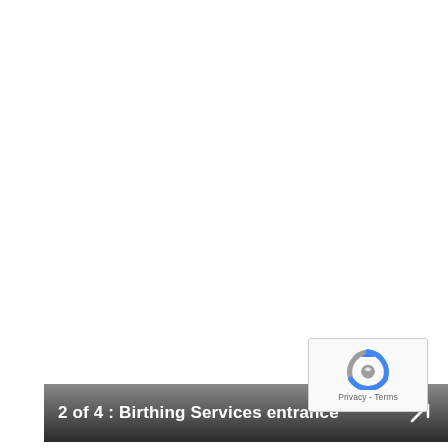[Figure (screenshot): Dark gradient banner overlay with text '2 of 4 : Birthing Services entrance' and an expand/fullscreen arrow icon on the right side]
[Figure (logo): reCAPTCHA widget box with Google reCAPTCHA logo and 'Privacy - Terms' text at bottom]